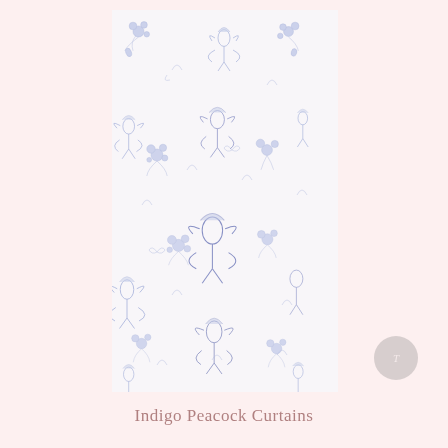[Figure (illustration): A rectangular fabric swatch with a white background featuring a blue toile pattern with peacocks and floral motifs repeated throughout]
Indigo Peacock Curtains